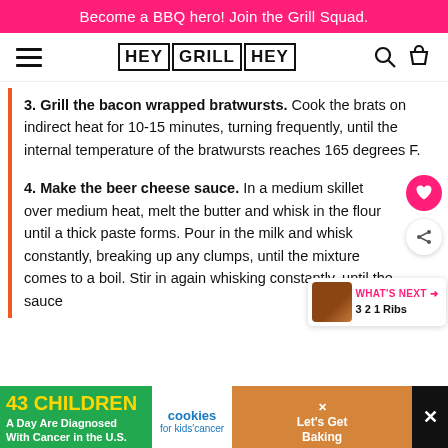Become a BBQ hero! Join the Grill Squad.
[Figure (logo): Hey Grill Hey logo with hamburger menu icon and search/cart icons]
3. Grill the bacon wrapped bratwursts. Cook the brats on indirect heat for 10-15 minutes, turning frequently, until the internal temperature of the bratwursts reaches 165 degrees F.
4. Make the beer cheese sauce. In a medium skillet over medium heat, melt the butter and whisk in the flour until a thick paste forms. Pour in the milk and whisk constantly, breaking up any clumps, until the mixture comes to a boil. Stir in again whisking constantly, until the sauce
[Figure (infographic): What's Next widget showing 3 2 1 Ribs with thumbnail image]
[Figure (infographic): Advertisement banner: 43 Children A Day Are Diagnosed With Cancer in the U.S. - cookies for kids cancer - Let's Get Baking]